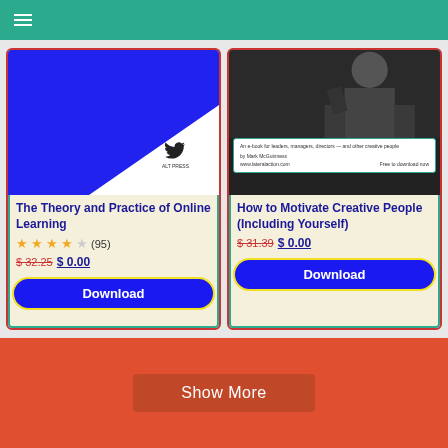[Figure (screenshot): Book cover: The Theory and Practice of Online Learning - blue cover with white triangle and bird logo]
The Theory and Practice of Online Learning
★★★★☆ (95)
$ 32.25  $ 0.00
Download
[Figure (screenshot): Book cover: How to Motivate Creative People (Including Yourself) - dark photo cover with text panel]
How to Motivate Creative People (Including Yourself)
$ 31.39  $ 0.00
Download
Show More